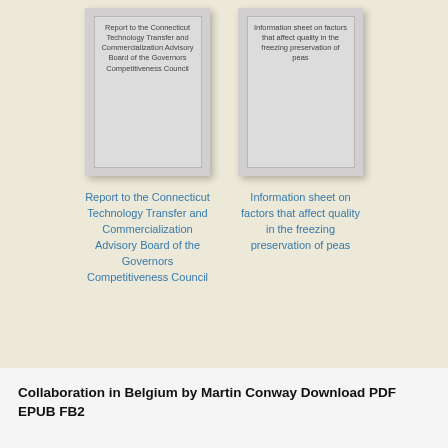[Figure (illustration): Thumbnail image of document cover: Report to the Connecticut Technology Transfer and Commercialization Advisory Board of the Governors Competitiveness Council]
[Figure (illustration): Thumbnail image of document cover: Information sheet on factors that affect quality in the freezing preservation of peas]
Report to the Connecticut Technology Transfer and Commercialization Advisory Board of the Governors Competitiveness Council
Information sheet on factors that affect quality in the freezing preservation of peas
Collaboration in Belgium by Martin Conway Download PDF EPUB FB2